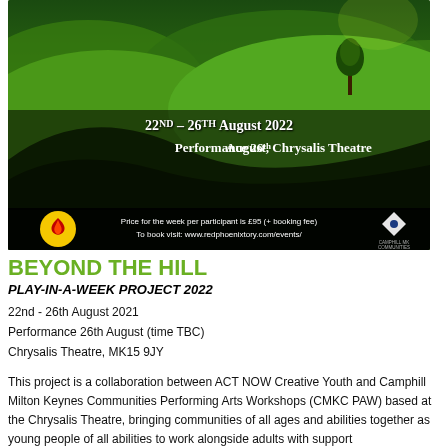[Figure (photo): A promotional poster for 'Beyond The Hill' showing green rolling hills with a lone tree against a bright sky. Dark overlay with white text reading '22ND – 26TH AUGUST 2022 / PERFORMANCE 26TH AUGUST, CHRYSALIS THEATRE'. Body text describes the collaboration between ACT NOW Creative Youth and Camphill Milton Keynes Communities PAW. Bottom bar shows Red Phoenix logo, pricing info, and Camphill MK Communities logo.]
BEYOND THE HILL
PLAY-IN-A-WEEK PROJECT 2022
22nd - 26th August 2021
Performance 26th August (time TBC)
Chrysalis Theatre, MK15 9JY
This project is a collaboration between ACT NOW Creative Youth and Camphill Milton Keynes Communities Performing Arts Workshops (CMKC PAW) based at the Chrysalis Theatre, bringing communities of all ages and abilities together as young people of all abilities to work alongside adults with support